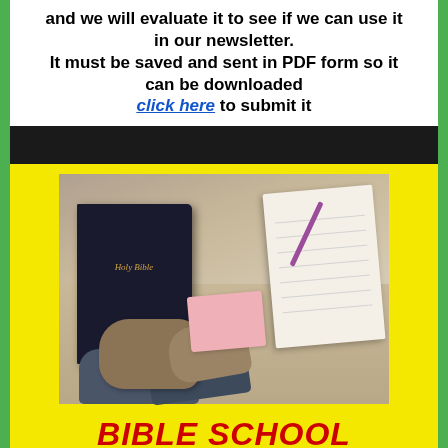and we will evaluate it to see if we can use it in our newsletter. It must be saved and sent in PDF form so it can be downloaded click here to submit it
[Figure (photo): A Holy Bible book on a desk beside a person's hands writing in a notebook with a pen]
BIBLE SCHOOL
COMING TUESDAY
2-22-2022 - 7 P.M.